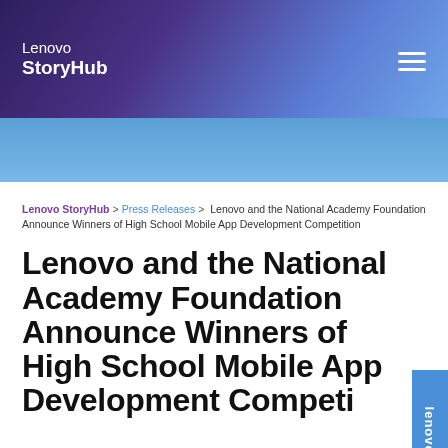Lenovo StoryHub
Lenovo StoryHub > Press Releases > Lenovo and the National Academy Foundation Announce Winners of High School Mobile App Development Competition
Lenovo and the National Academy Foundation Announce Winners of High School Mobile App Development Competition